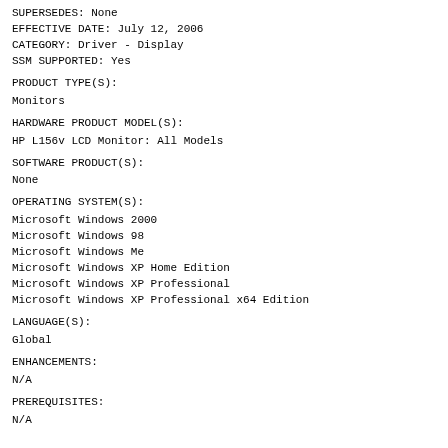SUPERSEDES: None
EFFECTIVE DATE: July 12, 2006
CATEGORY: Driver - Display
SSM SUPPORTED: Yes
PRODUCT TYPE(S):
Monitors
HARDWARE PRODUCT MODEL(S):
HP L156v LCD Monitor: All Models
SOFTWARE PRODUCT(S):
None
OPERATING SYSTEM(S):
Microsoft Windows 2000
Microsoft Windows 98
Microsoft Windows Me
Microsoft Windows XP Home Edition
Microsoft Windows XP Professional
Microsoft Windows XP Professional x64 Edition
LANGUAGE(S):
Global
ENHANCEMENTS:
N/A
PREREQUISITES:
N/A